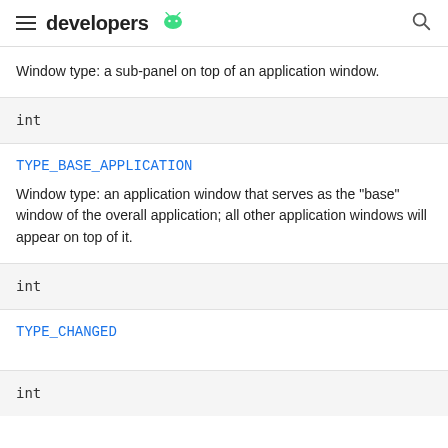developers
Window type: a sub-panel on top of an application window.
int
TYPE_BASE_APPLICATION
Window type: an application window that serves as the "base" window of the overall application; all other application windows will appear on top of it.
int
TYPE_CHANGED
int